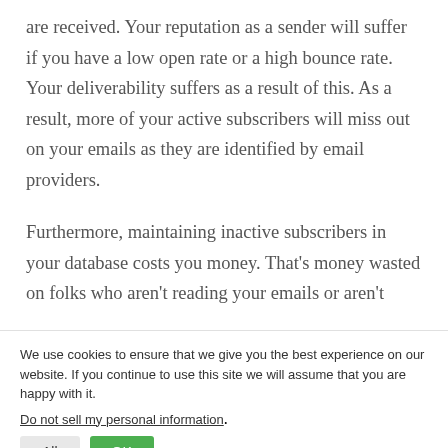are received. Your reputation as a sender will suffer if you have a low open rate or a high bounce rate. Your deliverability suffers as a result of this. As a result, more of your active subscribers will miss out on your emails as they are identified by email providers.
Furthermore, maintaining inactive subscribers in your database costs you money. That's money wasted on folks who aren't reading your emails or aren't
We use cookies to ensure that we give you the best experience on our website. If you continue to use this site we will assume that you are happy with it.
Do not sell my personal information.
[Figure (infographic): Social media share bar with Facebook (blue), Twitter (light blue), LinkedIn (dark blue), Instagram (gradient), WhatsApp (green), Reddit (orange-red) icons]